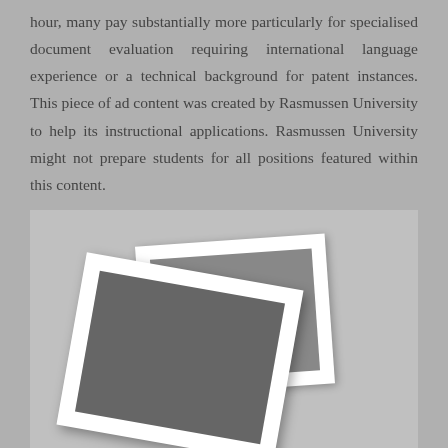hour, many pay substantially more particularly for specialised document evaluation requiring international language experience or a technical background for patent instances. This piece of ad content was created by Rasmussen University to help its instructional applications. Rasmussen University might not prepare students for all positions featured within this content.
[Figure (photo): Two overlapping polaroid-style photographs stacked on a gray background, showing blurred/gray image content]